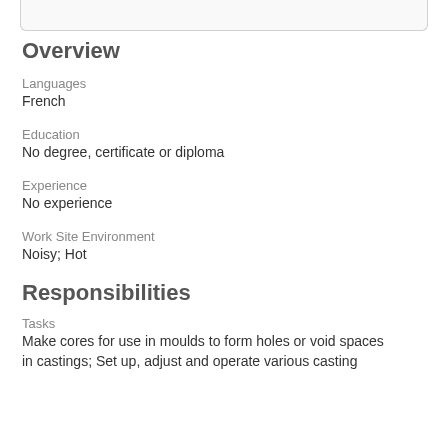Overview
Languages
French
Education
No degree, certificate or diploma
Experience
No experience
Work Site Environment
Noisy; Hot
Responsibilities
Tasks
Make cores for use in moulds to form holes or void spaces in castings; Set up, adjust and operate various casting